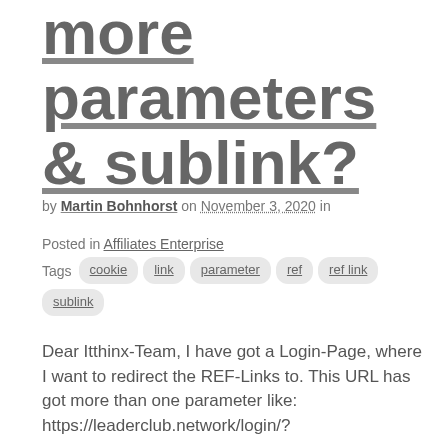more parameters & sublink?
by Martin Bohnhorst on November 3, 2020 in
Posted in Affiliates Enterprise
Tags cookie link parameter ref ref link sublink
Dear Itthinx-Team, I have got a Login-Page, where I want to redirect the REF-Links to. This URL has got more than one parameter like: https://leaderclub.network/login/?